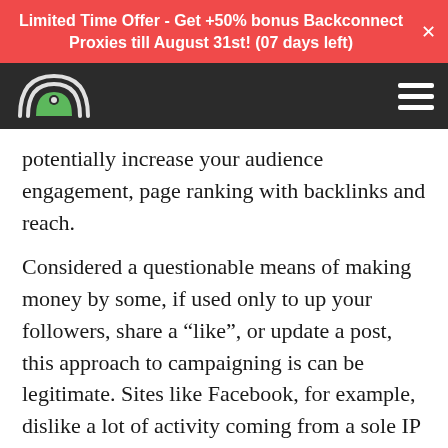Limited Time Offer - Get +50% bonus Backconnect Proxies till August 31st! (07 days left)
[Figure (logo): Website logo with target/radar icon on dark navigation bar]
potentially increase your audience engagement, page ranking with backlinks and reach.
Considered a questionable means of making money by some, if used only to up your followers, share a “like”, or update a post, this approach to campaigning is can be legitimate. Sites like Facebook, for example, dislike a lot of activity coming from a sole IP address. Follow Liker allows you to monitor and customize all elements of your Twitter, Pinterest, or another social media account and the money is